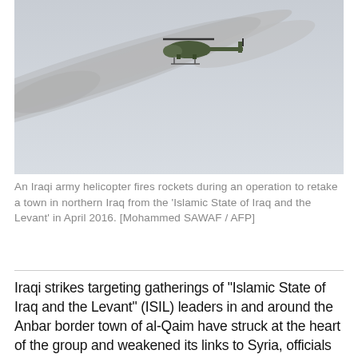[Figure (photo): An Iraqi army military helicopter firing rockets, with a large smoke trail stretching diagonally across a grey sky.]
An Iraqi army helicopter fires rockets during an operation to retake a town in northern Iraq from the 'Islamic State of Iraq and the Levant' in April 2016. [Mohammed SAWAF / AFP]
Iraqi strikes targeting gatherings of "Islamic State of Iraq and the Levant" (ISIL) leaders in and around the Anbar border town of al-Qaim have struck at the heart of the group and weakened its links to Syria, officials say.
Iraqi and coalition efforts have succeeded in eroding the group's hold on the strategic area,